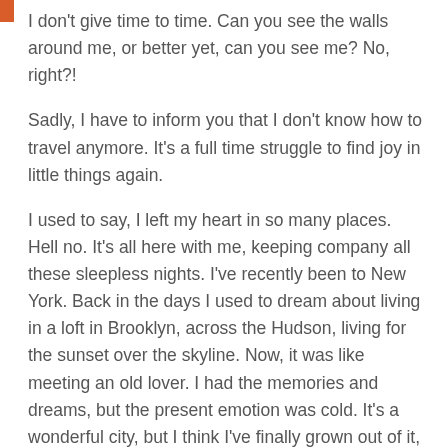I don't give time to time. Can you see the walls around me, or better yet, can you see me? No, right?!
Sadly, I have to inform you that I don't know how to travel anymore. It's a full time struggle to find joy in little things again.
I used to say, I left my heart in so many places. Hell no. It's all here with me, keeping company all these sleepless nights. I've recently been to New York. Back in the days I used to dream about living in a loft in Brooklyn, across the Hudson, living for the sunset over the skyline. Now, it was like meeting an old lover. I had the memories and dreams, but the present emotion was cold. It's a wonderful city, but I think I've finally grown out of it, like a friend of